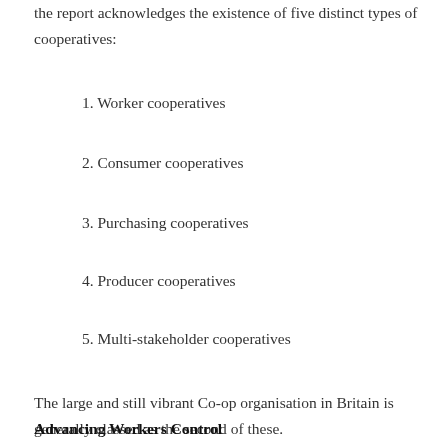the report acknowledges the existence of five distinct types of cooperatives:
1. Worker cooperatives
2. Consumer cooperatives
3. Purchasing cooperatives
4. Producer cooperatives
5. Multi-stakeholder cooperatives
The large and still vibrant Co-op organisation in Britain is generally classed as the second of these.
Advancing Workers Control